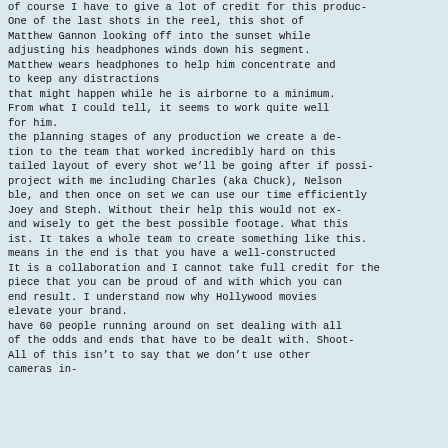of course I have to give a lot of credit for this produc-
One of the last shots in the reel, this shot of Matthew Gannon looking off into the sunset while adjusting his headphones winds down his segment. Matthew wears headphones to help him concentrate and to keep any distractions
that might happen while he is airborne to a minimum. From what I could tell, it seems to work quite well for him.
the planning stages of any production we create a de-
tion to the team that worked incredibly hard on this tailed layout of every shot we'll be going after if possi-
project with me including Charles (aka Chuck), Nelson ble, and then once on set we can use our time efficiently
Joey and Steph. Without their help this would not ex-
and wisely to get the best possible footage. What this
ist. It takes a whole team to create something like this.
means in the end is that you have a well-constructed
It is a collaboration and I cannot take full credit for the
piece that you can be proud of and with which you can
end result. I understand now why Hollywood movies elevate your brand.
have 60 people running around on set dealing with all of the odds and ends that have to be dealt with. Shoot-
All of this isn't to say that we don't use other cameras in-